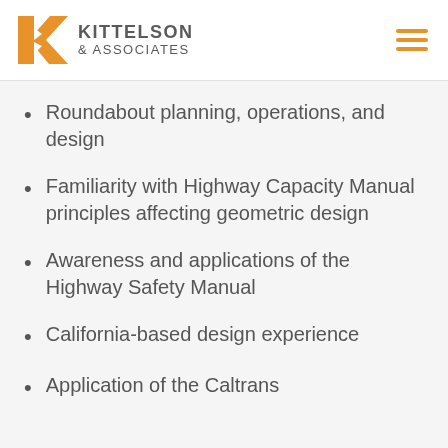Kittelson & Associates
Roundabout planning, operations, and design
Familiarity with Highway Capacity Manual principles affecting geometric design
Awareness and applications of the Highway Safety Manual
California-based design experience
Application of the Caltrans